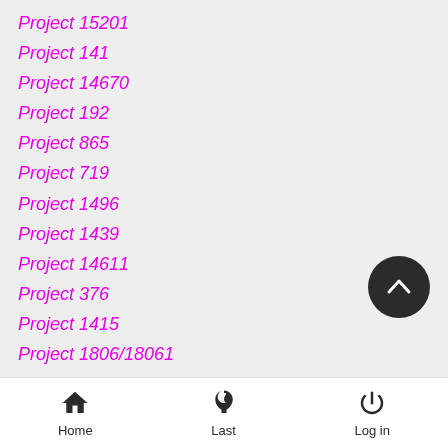Project 15201
Project 141
Project 14670
Project 192
Project 865
Project 719
Project 1496
Project 1439
Project 14611
Project 376
Project 1415
Project 1806/18061
Project 1799/17992/17994
Project 503
Project 1400
An-22
Mi-6/10/22
Home  Last  Log in